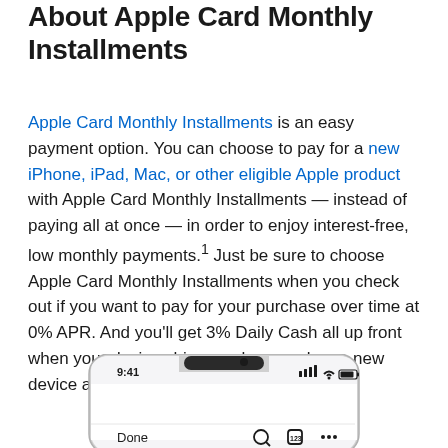About Apple Card Monthly Installments
Apple Card Monthly Installments is an easy payment option. You can choose to pay for a new iPhone, iPad, Mac, or other eligible Apple product with Apple Card Monthly Installments — instead of paying all at once — in order to enjoy interest-free, low monthly payments.¹ Just be sure to choose Apple Card Monthly Installments when you check out if you want to pay for your purchase over time at 0% APR. And you'll get 3% Daily Cash all up front when your device ships or when you buy a new device at an Apple store.
[Figure (photo): iPhone device screenshot showing Safari browser with Done button and toolbar icons (search, tab, menu) visible at bottom.]